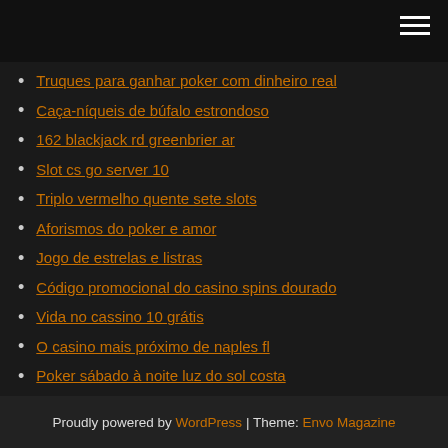[hamburger menu icon]
Truques para ganhar poker com dinheiro real
Caça-níqueis de búfalo estrondoso
162 blackjack rd greenbrier ar
Slot cs go server 10
Triplo vermelho quente sete slots
Aforismos do poker e amor
Jogo de estrelas e listras
Código promocional do casino spins dourado
Vida no cassino 10 grátis
O casino mais próximo de naples fl
Poker sábado à noite luz do sol costa
Proudly powered by WordPress | Theme: Envo Magazine